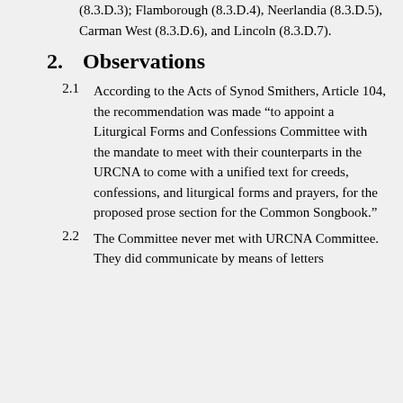(8.3.D.3); Flamborough (8.3.D.4), Neerlandia (8.3.D.5), Carman West (8.3.D.6), and Lincoln (8.3.D.7).
2.   Observations
2.1   According to the Acts of Synod Smithers, Article 104, the recommendation was made “to appoint a Liturgical Forms and Confessions Committee with the mandate to meet with their counterparts in the URCNA to come with a unified text for creeds, confessions, and liturgical forms and prayers, for the proposed prose section for the Common Songbook.”
2.2   The Committee never met with URCNA Committee. They did communicate by means of letters